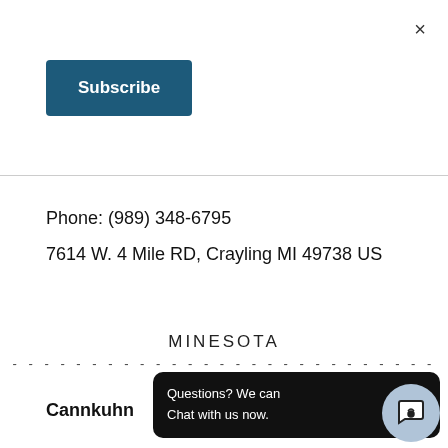×
Subscribe
Phone: (989) 348-6795
7614 W. 4 Mile RD, Crayling MI 49738 US
MINESOTA
Cannkuhn
Phone: (952) 474-4519
223 Water Street, Excelsior MN
Questions? We can
Chat with us now.